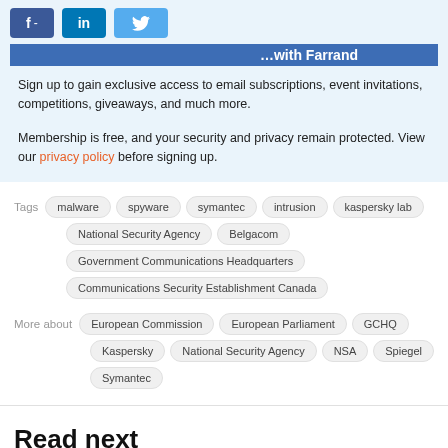[Figure (other): Social sharing buttons: Facebook (f -), LinkedIn (in), Twitter (bird icon)]
Sign up to gain exclusive access to email subscriptions, event invitations, competitions, giveaways, and much more.
Membership is free, and your security and privacy remain protected. View our privacy policy before signing up.
Tags   malware   spyware   symantec   intrusion   kaspersky lab   National Security Agency   Belgacom   Government Communications Headquarters   Communications Security Establishment Canada
More about   European Commission   European Parliament   GCHQ   Kaspersky   National Security Agency   NSA   Spiegel   Symantec
Read next